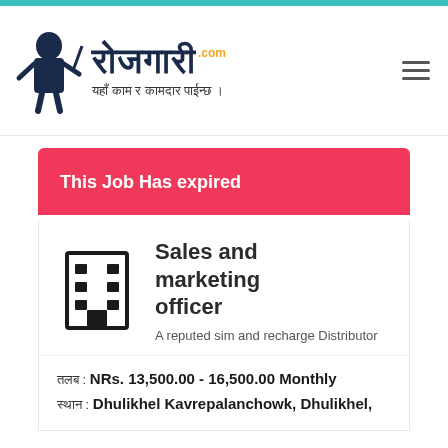Rojgari.com - यहाँ काम र कामदार पाईन्छ।
This Job Has expired
Sales and marketing officer
A reputed sim and recharge Distributor
तलब : NRs. 13,500.00 - 16,500.00 Monthly
स्थान : Dhulikhel Kavrepalanchowk, Dhulikhel,